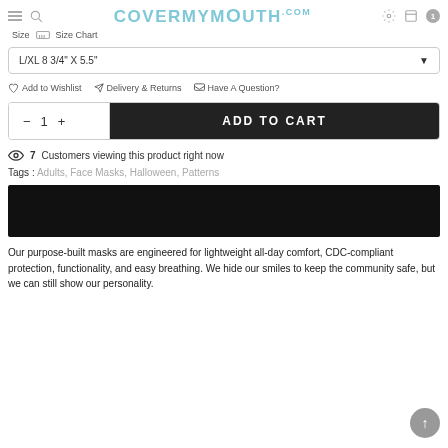CoverMyMouth.com
Size  Size Chart
L/XL 8 3/4" X 5.5"
Add to Wishlist   Delivery & Returns   Have A Question?
1   ADD TO CART
7 Customers viewing this product right now
Tags : Adults, Face Masks, Halloween, Patterns
[Figure (photo): Black banner/image bar]
Our purpose-built masks are engineered for lightweight all-day comfort, CDC-compliant protection, functionality, and easy breathing. We hide our smiles to keep the community safe, but we can still show our personality.